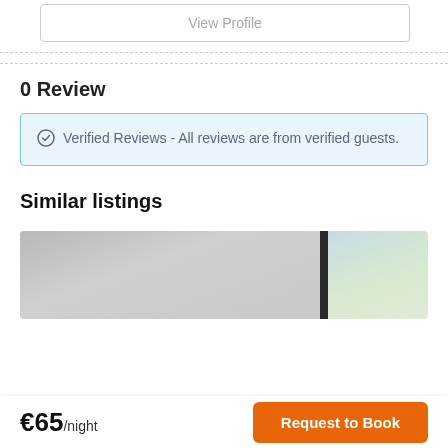View Profile
0 Review
Verified Reviews - All reviews are from verified guests.
Similar listings
[Figure (photo): Interior room photo showing a blurred foreground surface, dark vertical element (door frame or column), and a window with greenery visible outside.]
€65/night
Request to Book